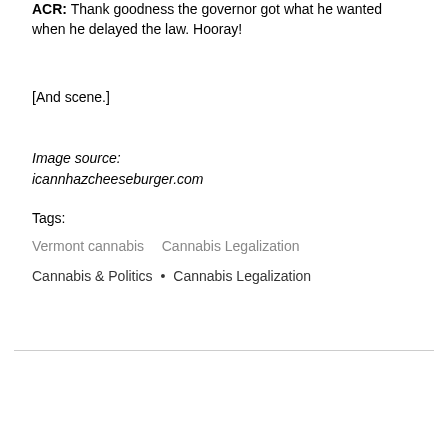ACR: Thank goodness the governor got what he wanted when he delayed the law. Hooray!
[And scene.]
Image source:
icannhazcheeseburger.com
Tags:
Vermont cannabis   Cannabis Legalization
Cannabis & Politics  •  Cannabis Legalization
[Figure (other): Social media share icons: Facebook (f), Twitter (bird), LinkedIn (in); back-to-top arrow button]
The American Cannabis Report
(C) 2022 Eastman Smith Communications